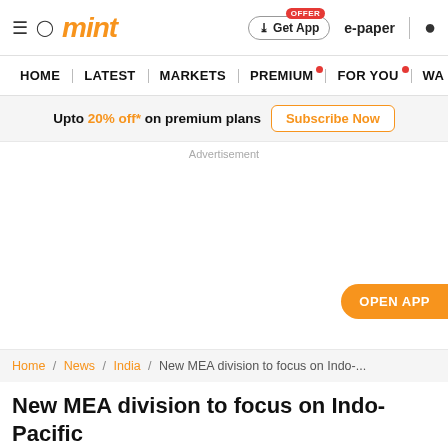mint — Home | Latest | Markets | Premium | For You
Upto 20% off* on premium plans — Subscribe Now
Advertisement
OPEN APP
Home / News / India / New MEA division to focus on Indo-...
New MEA division to focus on Indo-Pacific